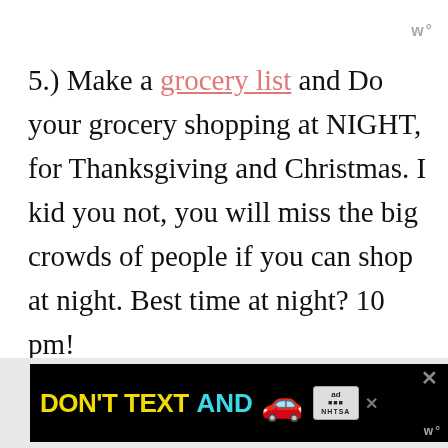w°
5.) Make a grocery list and Do your grocery shopping at NIGHT, for Thanksgiving and Christmas. I kid you not, you will miss the big crowds of people if you can shop at night. Best time at night? 10 pm!
[Figure (screenshot): Advertisement banner: 'DON'T TEXT AND [car emoji]' with NHTSA ad badge, close buttons, and site logo]